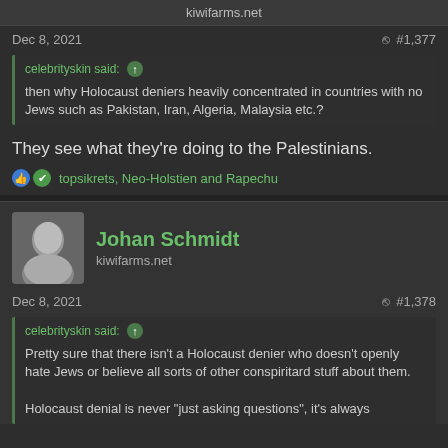kiwifarms.net
Dec 8, 2021  #1,377
celebrityskin said:
then why Holocaust deniers heavily concentrated in countries with no Jews such as Pakistan, Iran, Algeria, Malaysia etc.?
They see what they're doing to the Palestinians.
topsikrets, Neo-Holstien and Rapechu
Johan Schmidt
kiwifarms.net
Dec 8, 2021  #1,378
celebrityskin said:
Pretty sure that there isn't a Holocaust denier who doesn't openly hate Jews or believe all sorts of other conspiritard stuff about them.

Holocaust denial is never "just asking questions", it's always